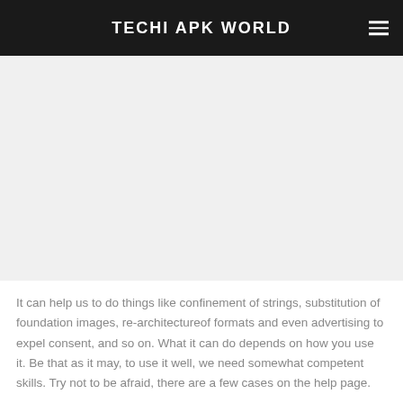TECHI APK WORLD
[Figure (other): Advertisement / blank content area placeholder]
It can help us to do things like confinement of strings, substitution of foundation images, re-architectureof formats and even advertising to expel consent, and so on. What it can do depends on how you use it. Be that as it may, to use it well, we need somewhat competent skills. Try not to be afraid, there are a few cases on the help page.